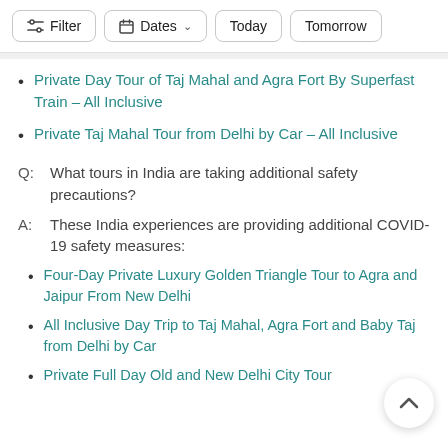Filter | Dates | Today | Tomorrow
Private Day Tour of Taj Mahal and Agra Fort By Superfast Train – All Inclusive
Private Taj Mahal Tour from Delhi by Car – All Inclusive
Q:  What tours in India are taking additional safety precautions?
A:  These India experiences are providing additional COVID-19 safety measures:
Four-Day Private Luxury Golden Triangle Tour to Agra and Jaipur From New Delhi
All Inclusive Day Trip to Taj Mahal, Agra Fort and Baby Taj from Delhi by Car
Private Full Day Old and New Delhi City Tour